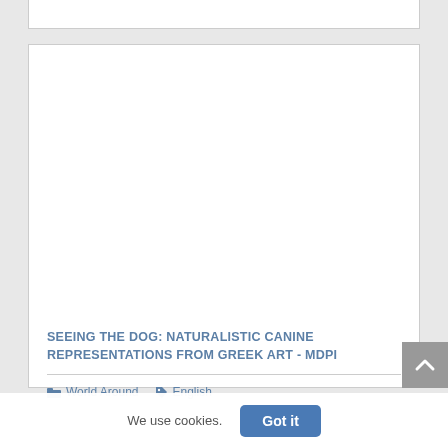[Figure (other): White card with image placeholder at top (image content not visible), part of a webpage listing]
SEEING THE DOG: NATURALISTIC CANINE REPRESENTATIONS FROM GREEK ART - MDPI
World Around   English
We use cookies.